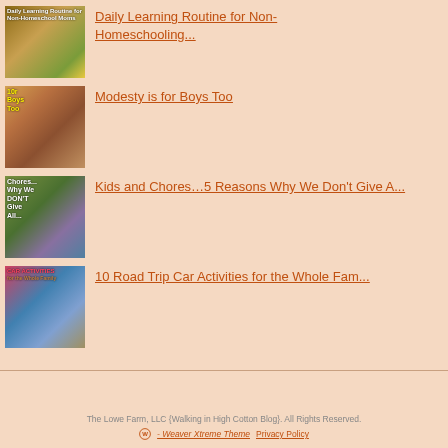Daily Learning Routine for Non-Homeschooling...
Modesty is for Boys Too
Kids and Chores…5 Reasons Why We Don't Give A...
10 Road Trip Car Activities for the Whole Fam...
The Lowe Farm, LLC {Walking in High Cotton Blog}. All Rights Reserved. - Weaver Xtreme Theme  Privacy Policy